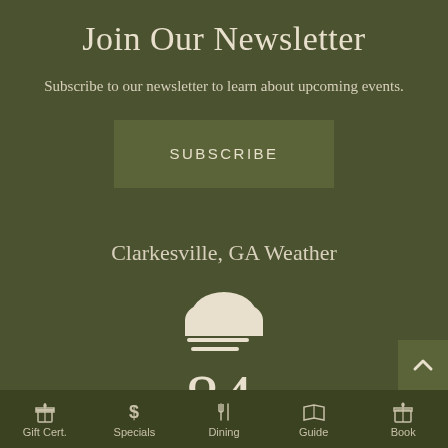Join Our Newsletter
Subscribe to our newsletter to learn about upcoming events.
SUBSCRIBE
Clarkesville, GA Weather
[Figure (illustration): Weather icon showing a cloud with horizontal wind/fog lines beneath it]
84°
Gift Cert.   Specials   Dining   Guide   Book